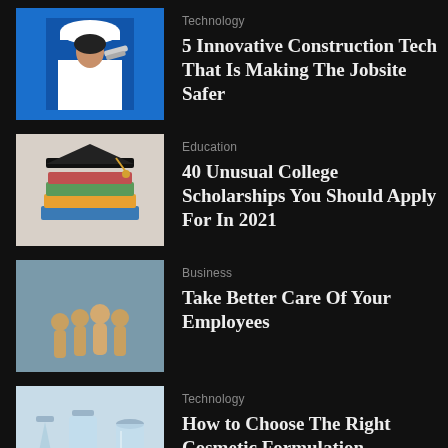[Figure (photo): Woman in white hard hat holding blueprints, blue background]
Technology
5 Innovative Construction Tech That Is Making The Jobsite Safer
[Figure (photo): Graduation cap on top of stacked books]
Education
40 Unusual College Scholarships You Should Apply For In 2021
[Figure (photo): Wooden human figurines arranged in a group on blue background]
Business
Take Better Care Of Your Employees
[Figure (photo): Cosmetic chemistry lab glassware with light blue background]
Technology
How to Choose The Right Cosmetic Formulation Software?
[Figure (photo): LMS (Learning Management System) screen on orange/red background]
Technology
LMS – What Makes It A Boon For Educators